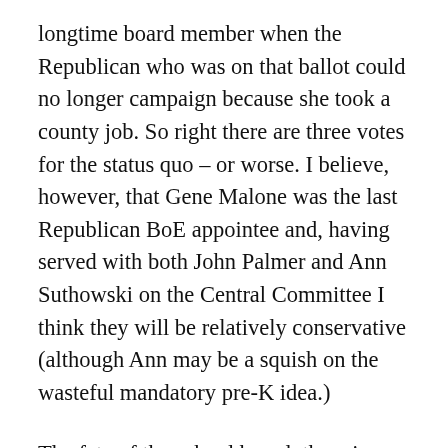longtime board member when the Republican who was on that ballot could no longer campaign because she took a county job. So right there are three votes for the status quo – or worse. I believe, however, that Gene Malone was the last Republican BoE appointee and, having served with both John Palmer and Ann Suthowski on the Central Committee I think they will be relatively conservative (although Ann may be a squish on the wasteful mandatory pre-K idea.)
The fate of the school board, then, is coming down to District 3. David Goslee, Sr. (who I also know from serving with him on the WCRCC) is literally hanging on by the skin of his teeth – 9